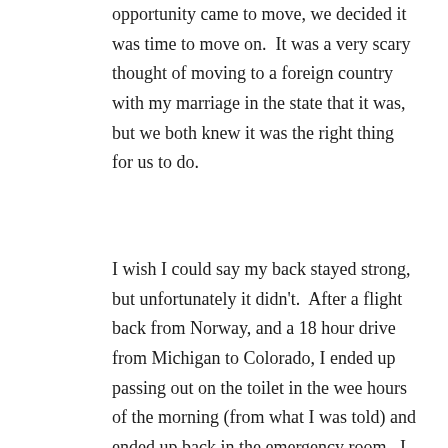opportunity came to move, we decided it was time to move on.  It was a very scary thought of moving to a foreign country with my marriage in the state that it was, but we both knew it was the right thing for us to do.
I wish I could say my back stayed strong, but unfortunately it didn't.  After a flight back from Norway, and a 18 hour drive from Michigan to Colorado, I ended up passing out on the toilet in the wee hours of the morning (from what I was told) and ended up back in the emergency room.  I was medicated enough to make it through the trip, but spent most of my nephew's wedding and reception on the floor, luckily my family was there to keep me company.  I had damaged my back